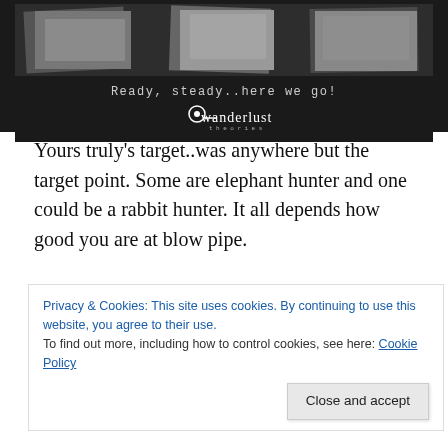[Figure (photo): Dark background with polaroid-style photographs showing people, with text 'Ready, steady..here we go!' and Wanderlust Theories logo below]
Yours truly's target..was anywhere but the target point. Some are elephant hunter and one could be a rabbit hunter. It all depends how good you are at blow pipe.
[Figure (photo): Forest/jungle scene with trees and branches against sky]
Privacy & Cookies: This site uses cookies. By continuing to use this website, you agree to their use.
To find out more, including how to control cookies, see here: Cookie Policy